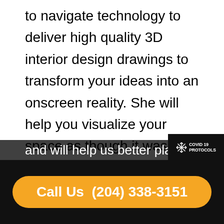to navigate technology to deliver high quality 3D interior design drawings to transform your ideas into an onscreen reality. She will help you visualize your space as though it was already created and allow you to see the perfect colour of paint on the walls or tiles on the floor. This 3D interior design capability allow us to provide realistic designs with every detail of your plan in 3D, elevation and floor plan views with your custom cabinets, appliances, fixtures, flooring, counters, millwork, textures and finishes. We can also provide photo-realistic renderings and virtual tours to help you visualize what your space will look like when it's done and will help us better plan your project from beginning
[Figure (logo): COVID 19 PROTOCOLS badge in black background with a snowflake-like icon]
and will help us better plan your project from beginning
Call Us  (204) 338-3151